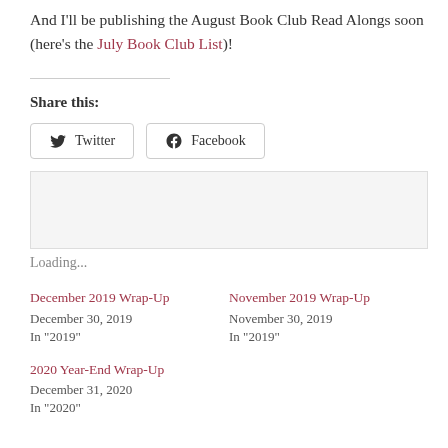And I'll be publishing the August Book Club Read Alongs soon (here's the July Book Club List)!
Share this:
Loading...
December 2019 Wrap-Up
December 30, 2019
In "2019"
November 2019 Wrap-Up
November 30, 2019
In "2019"
2020 Year-End Wrap-Up
December 31, 2020
In "2020"